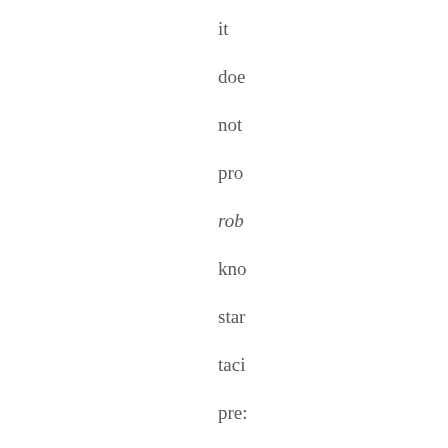it doe not pro rob kno star taci pre: stat in one inst and nor Thi mal his app rem frie to exis